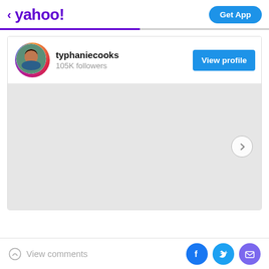[Figure (screenshot): Yahoo logo with back arrow and purple text]
Get App
[Figure (photo): Instagram-style profile card for typhaniecooks with avatar photo, 105K followers, and View profile button]
typhaniecooks
105K followers
View profile
[Figure (photo): Gray placeholder image area with a right-arrow navigation button]
View comments
[Figure (infographic): Social share icons: Facebook (blue), Twitter (cyan), Mail (purple)]